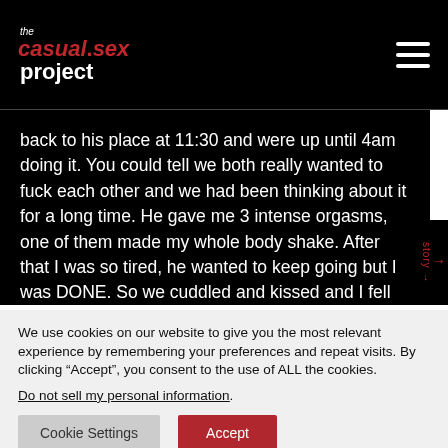the casual.sex project
back to his place at 11:30 and were up until 4am doing it. You could tell we both really wanted to fuck each other and we had been thinking about it for a long time. He gave me 3 intense orgasms, one of them made my whole body shake. After that I was so tired, he wanted to keep going but I was DONE. So we cuddled and kissed and I fell asleep in his arms. He referred to the events of that evening as “making love”.

I will never forget that night. It was one of the most passionate
We use cookies on our website to give you the most relevant experience by remembering your preferences and repeat visits. By clicking “Accept”, you consent to the use of ALL the cookies.
Do not sell my personal information.